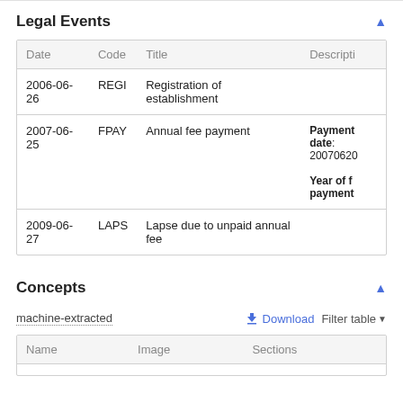Legal Events
| Date | Code | Title | Descripti |
| --- | --- | --- | --- |
| 2006-06-26 | REGI | Registration of establishment |  |
| 2007-06-25 | FPAY | Annual fee payment | Payment date: 20070620
Year of fee payment: |
| 2009-06-27 | LAPS | Lapse due to unpaid annual fee |  |
Concepts
machine-extracted
| Name | Image | Sections |
| --- | --- | --- |